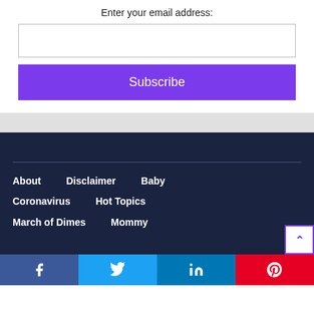Enter your email address:
Subscribe
About   Disclaimer   Baby   Coronavirus   Hot Topics   March of Dimes   Mommy
[Figure (infographic): Social share bar with Facebook, Twitter, LinkedIn, and Pinterest icons]